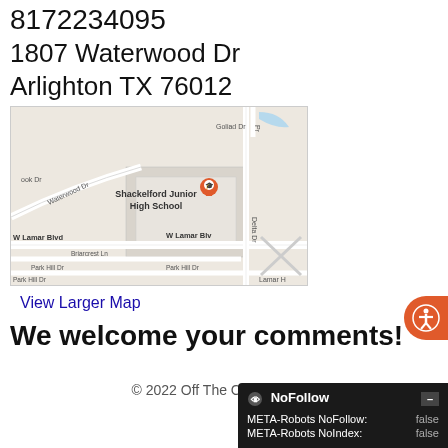8172234095
1807 Waterwood Dr
Arlighton TX 76012
[Figure (map): Google Maps showing area around 1807 Waterwood Dr, Arlington TX, with Shackelford Junior High School marked with a pin. Streets include Waterwood Dr, W Lamar Blvd, Briarcrest Ln, Park Hill Dr, Goliad Dr, Delta Dr.]
View Larger Map
We welcome your comments!
© 2022 Off The Crooked Path
NoFollow
META-Robots NoFollow: false
META-Robots NoIndex: false